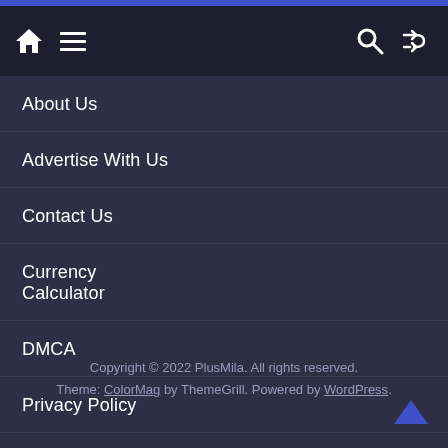Navigation bar with home, menu, search, and shuffle icons
About Us
Advertise With Us
Contact Us
Currency Calculator
DMCA
Privacy Policy
Copyright © 2022 PlusMila. All rights reserved. Theme: ColorMag by ThemeGrill. Powered by WordPress.